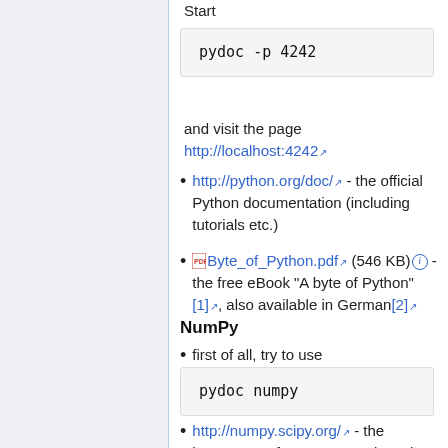Start
pydoc  -p  4242
and visit the page http://localhost:4242
http://python.org/doc/ - the official Python documentation (including tutorials etc.)
Byte_of_Python.pdf (546 KB) - the free eBook "A byte of Python" [1], also available in German[2]
NumPy
first of all, try to use
pydoc  numpy
http://numpy.scipy.org/ - the homepage of NumPy contains a lot